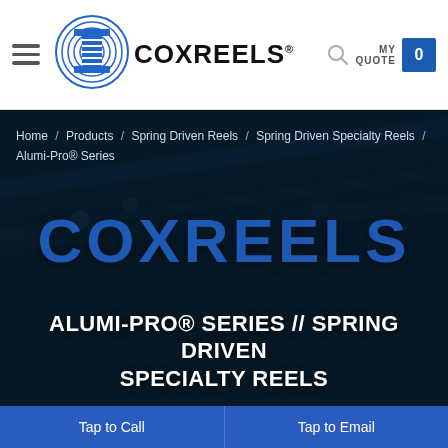[Figure (logo): Coxreels logo with circular reel icon and COXREELS wordmark in black, registered trademark symbol]
MY QUOTE 0
[Figure (screenshot): Dark blue hero banner showing COXREELS brand text and product cables in background]
Home / Products / Spring Driven Reels / Spring Driven Specialty Reels / Alumi-Pro® Series
ALUMI-PRO® SERIES // SPRING DRIVEN SPECIALTY REELS
Tap to Call
Tap to Email